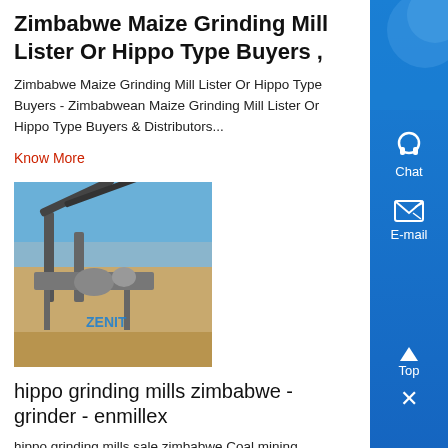Zimbabwe Maize Grinding Mill Lister Or Hippo Type Buyers ,
Zimbabwe Maize Grinding Mill Lister Or Hippo Type Buyers - Zimbabwean Maize Grinding Mill Lister Or Hippo Type Buyers & Distributors...
Know More
[Figure (photo): Mining processing plant equipment in a desert/arid landscape with ZENIT branding]
hippo grinding mills zimbabwe - grinder - enmillex
hippo grinding mills sale zimbabwe Coal mining processing plan NigeriaThis coal mining project is an open pit mine located in Nigeria, announced by mining ....